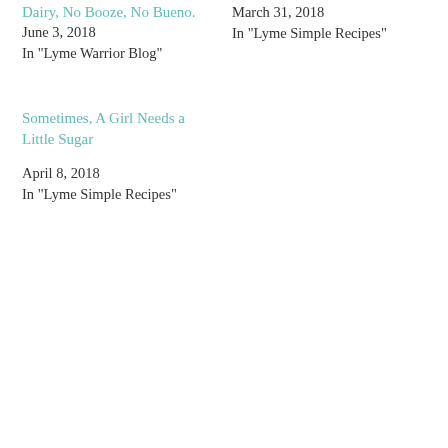Dairy, No Booze, No Bueno
June 3, 2018
In "Lyme Warrior Blog"
March 31, 2018
In "Lyme Simple Recipes"
Sometimes, A Girl Needs a Little Sugar
April 8, 2018
In "Lyme Simple Recipes"
Privacy & Cookies: This site uses cookies. By continuing to use this website, you agree to their use.
To find out more, including how to control cookies, see here: Cookie Policy
Close and accept